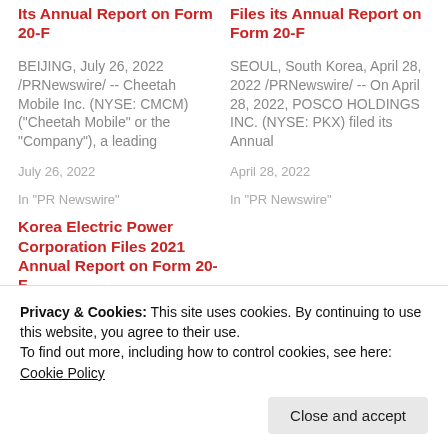Its Annual Report on Form 20-F
BEIJING, July 26, 2022 /PRNewswire/ -- Cheetah Mobile Inc. (NYSE: CMCM) ("Cheetah Mobile" or the "Company"), a leading
July 26, 2022
In "PR Newswire"
Files its Annual Report on Form 20-F
SEOUL, South Korea, April 28, 2022 /PRNewswire/ -- On April 28, 2022, POSCO HOLDINGS INC. (NYSE: PKX) filed its Annual
April 28, 2022
In "PR Newswire"
Korea Electric Power Corporation Files 2021 Annual Report on Form 20-F
NAJU, South Korea, April
Privacy & Cookies: This site uses cookies. By continuing to use this website, you agree to their use.
To find out more, including how to control cookies, see here: Cookie Policy
Close and accept